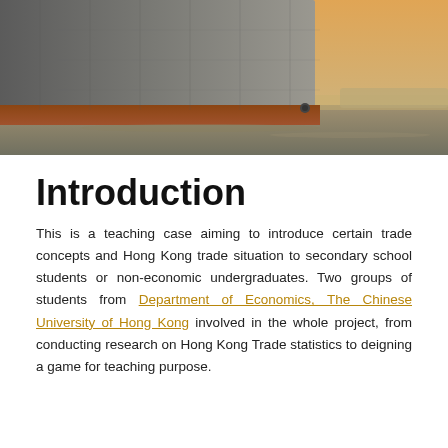[Figure (photo): Photo of a large cargo/container ship hull at water level during sunset or dusk, with warm orange sky in background.]
Introduction
This is a teaching case aiming to introduce certain trade concepts and Hong Kong trade situation to secondary school students or non-economic undergraduates. Two groups of students from Department of Economics, The Chinese University of Hong Kong involved in the whole project, from conducting research on Hong Kong Trade statistics to deigning a game for teaching purpose.